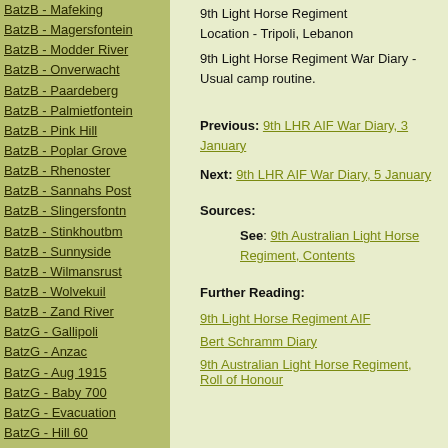BatzB - Mafeking
BatzB - Magersfontein
BatzB - Modder River
BatzB - Onverwacht
BatzB - Paardeberg
BatzB - Palmietfontein
BatzB - Pink Hill
BatzB - Poplar Grove
BatzB - Rhenoster
BatzB - Sannahs Post
BatzB - Slingersfontn
BatzB - Stinkhoutbm
BatzB - Sunnyside
BatzB - Wilmansrust
BatzB - Wolvekuil
BatzB - Zand River
BatzG - Gallipoli
BatzG - Anzac
BatzG - Aug 1915
BatzG - Baby 700
BatzG - Evacuation
BatzG - Hill 60
BatzG - Hill 971
BatzG - Krithia
BatzG - Lone Pine
BatzG - Nek
BatzJ - Jordan Valley
BatzJ - 1st Amman
9th Light Horse Regiment
Location - Tripoli, Lebanon
9th Light Horse Regiment War Diary - Usual camp routine.
Previous: 9th LHR AIF War Diary, 3 January
Next: 9th LHR AIF War Diary, 5 January
Sources:
See: 9th Australian Light Horse Regiment, Contents
Further Reading:
9th Light Horse Regiment AIF
Bert Schramm Diary
9th Australian Light Horse Regiment, Roll of Honour